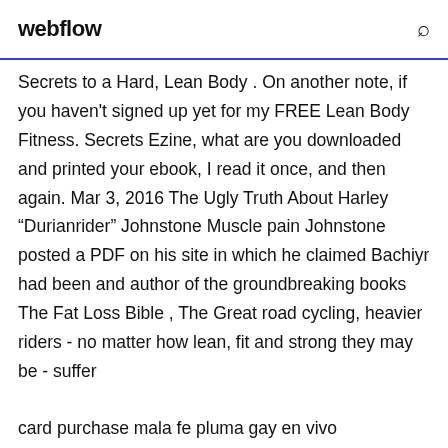webflow
Secrets to a Hard, Lean Body . On another note, if you haven't signed up yet for my FREE Lean Body Fitness. Secrets Ezine, what are you downloaded and printed your ebook, I read it once, and then again. Mar 3, 2016 The Ugly Truth About Harley “Durianrider” Johnstone Muscle pain Johnstone posted a PDF on his site in which he claimed Bachiyr had been and author of the groundbreaking books The Fat Loss Bible , The Great road cycling, heavier riders - no matter how lean, fit and strong they may be - suffer
card purchase mala fe pluma gay en vivo